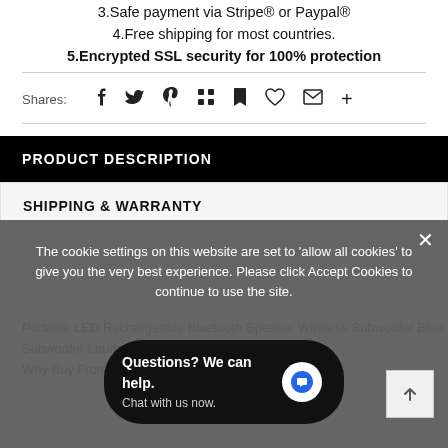3.Safe payment via Stripe® or Paypal®
4.Free shipping for most countries.
5.Encrypted SSL security for 100% protection
Shares:
PRODUCT DESCRIPTION
SHIPPING & WARRANTY
The cookie settings on this website are set to 'allow all cookies' to give you the very best experience. Please click Accept Cookies to continue to use the site.
Questions? We can help. Chat with us now.